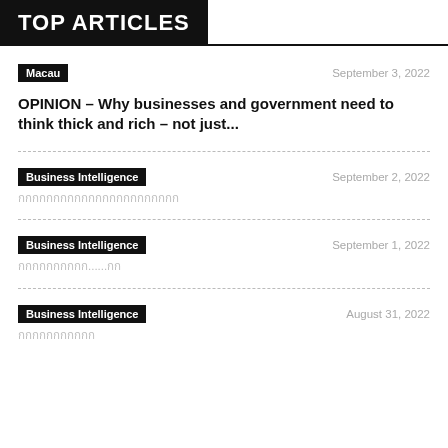TOP ARTICLES
Macau    September 3, 2022
OPINION – Why businesses and government need to think thick and rich – not just...
Business Intelligence    September 2, 2022
กกกกกกกกกกกกกกกกกกกกกกก
Business Intelligence    September 1, 2022
กกกกกกกกกก......กก
Business Intelligence    August 31, 2022
กกกกกกกกกกก